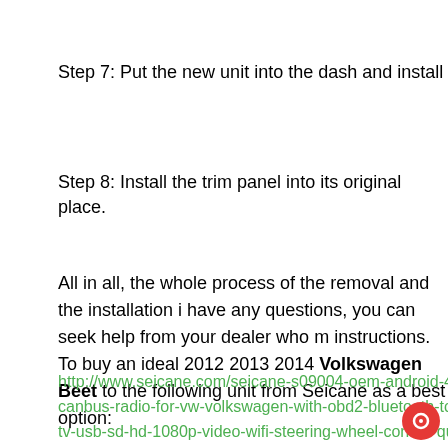Step 7: Put the new unit into the dash and install the four screw
Step 8: Install the trim panel into its original place.
All in all, the whole process of the removal and the installation i have any questions, you can seek help from your dealer who m instructions. To buy an ideal 2012 2013 2014 Volkswagen Beet to the following unit from Seicane as a best option:
http://www.seicane.com/seicane-s09004-oem-android-4-4-4-gp canbus-radio-for-vw-volkswagen-with-obd2-bluetooth-touch-s tv-usb-sd-hd-1080p-video-wifi-steering-wheel-control-quad-cor